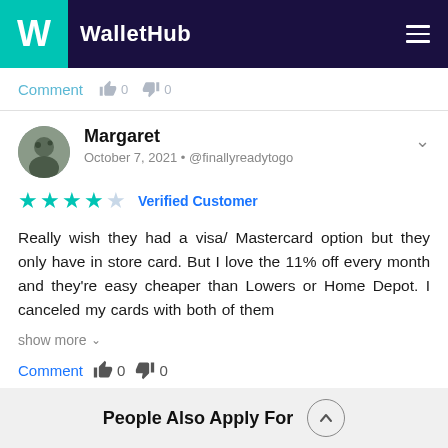WalletHub
Comment  0  0
Margaret
October 7, 2021 • @finallyreadytogo
★★★★☆ Verified Customer
Really wish they had a visa/ Mastercard option but they only have in store card. But I love the 11% off every month and they're easy cheaper than Lowers or Home Depot. I canceled my cards with both of them
show more
Comment  0  0
People Also Apply For